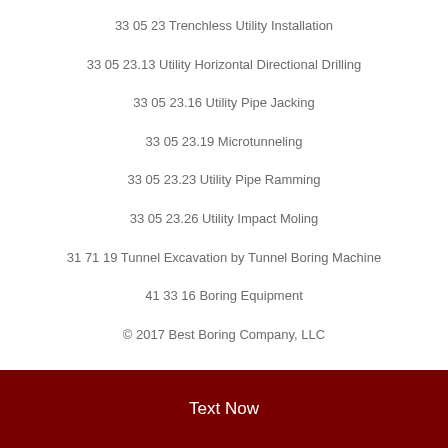33 05 23 Trenchless Utility Installation
33 05 23.13 Utility Horizontal Directional Drilling
33 05 23.16 Utility Pipe Jacking
33 05 23.19 Microtunneling
33 05 23.23 Utility Pipe Ramming
33 05 23.26 Utility Impact Moling
31 71 19 Tunnel Excavation by Tunnel Boring Machine
41 33 16 Boring Equipment
© 2017 Best Boring Company, LLC
Text Now